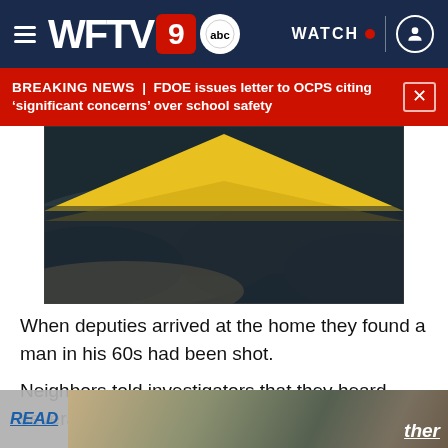WFTV 9 abc | WATCH
BREAKING NEWS | FDOE issues letter to OCPS citing 'significant concerns' over school safety
[Figure (photo): Weather/storm image with yellow triangle shape on dark cloudy sky background, used as article illustration]
When deputies arrived at the home they found a man in his 60s had been shot.
Neighbors told investigators that they heard several shots at around 6 p.m.
READ ... ther